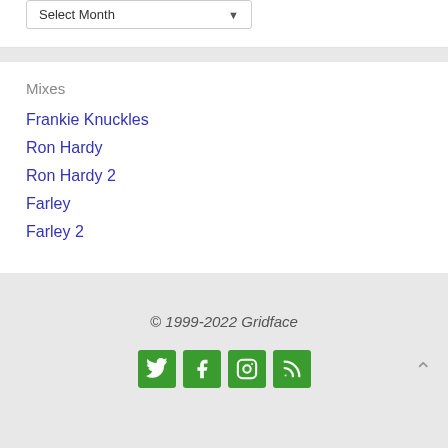Select Month
Mixes
Frankie Knuckles
Ron Hardy
Ron Hardy 2
Farley
Farley 2
© 1999-2022 Gridface